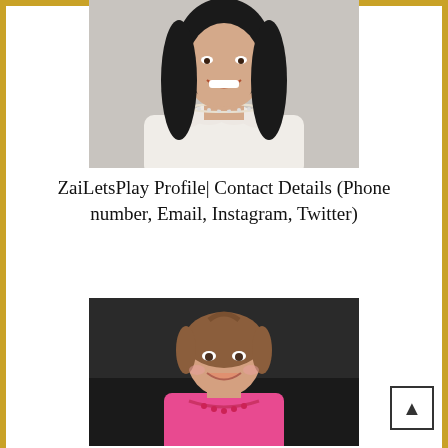[Figure (photo): Portrait photo of a young woman with long dark hair, wearing a white dress with scalloped neckline and a delicate necklace, smiling, cropped at chest level]
ZaiLetsPlay Profile| Contact Details (Phone number, Email, Instagram, Twitter)
[Figure (photo): Portrait photo of a young girl with brown hair pulled back, wearing a pink shirt and a beaded necklace, smiling, seated on a dark sofa]